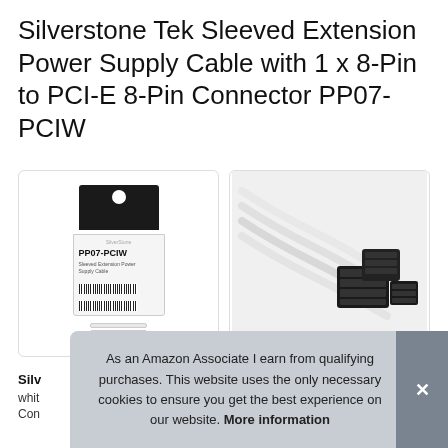Silverstone Tek Sleeved Extension Power Supply Cable with 1 x 8-Pin to PCI-E 8-Pin Connector PP07-PCIW
[Figure (photo): Product packaging image showing PP07-PCIW cable in retail packaging with black header and barcode, white sleeved cables visible below]
[Figure (photo): Close-up image of white sleeved extension cables with black PCI-E 8-pin connectors on grey background]
Silv
whit
Con
As an Amazon Associate I earn from qualifying purchases. This website uses the only necessary cookies to ensure you get the best experience on our website. More information